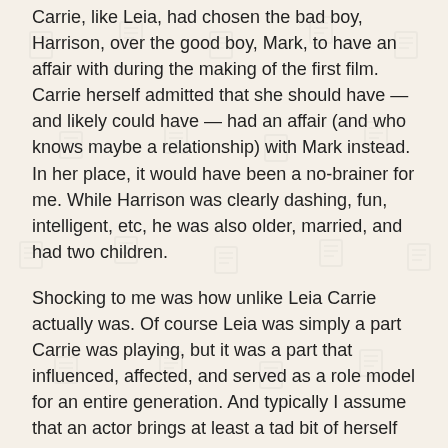Carrie, like Leia, had chosen the bad boy, Harrison, over the good boy, Mark, to have an affair with during the making of the first film. Carrie herself admitted that she should have — and likely could have — had an affair (and who knows maybe a relationship) with Mark instead. In her place, it would have been a no-brainer for me. While Harrison was clearly dashing, fun, intelligent, etc, he was also older, married, and had two children.
Shocking to me was how unlike Leia Carrie actually was. Of course Leia was simply a part Carrie was playing, but it was a part that influenced, affected, and served as a role model for an entire generation. And typically I assume that an actor brings at least a tad bit of herself into every role, but in this case it was just the opposite. Leia's intelligent, self-confident, commanding, in control, take-no-shit personality was in such a contrast with Carrie's self-conscious, self-demeaning, self-depreciating, insecure personality that Carrie did all she